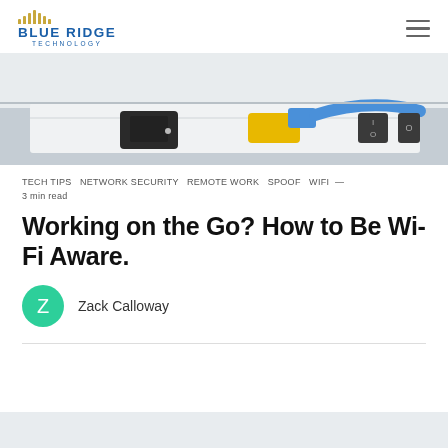BLUE RIDGE TECHNOLOGY
[Figure (photo): Close-up photo of network equipment with a yellow ethernet cable being plugged into a white panel, with black network ports visible.]
TECH TIPS  NETWORK SECURITY  REMOTE WORK  SPOOF  WIFI — 3 min read
Working on the Go? How to Be Wi-Fi Aware.
Zack Calloway